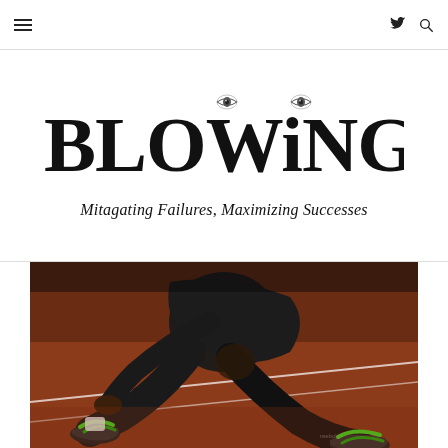Navigation bar with menu icon, Twitter icon, and search icon
[Figure (logo): BLOWiNGiT logo with stylized serif bold text and two eye illustrations in the letters. Tagline: Mitagating Failures, Maximizing Successes]
[Figure (photo): Close-up photo of a sprinter in starting position on a red running track, wearing black shorts and green/black running shoes]